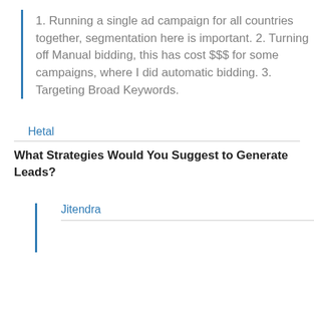1. Running a single ad campaign for all countries together, segmentation here is important. 2. Turning off Manual bidding, this has cost $$$ for some campaigns, where I did automatic bidding. 3. Targeting Broad Keywords.
Hetal
What Strategies Would You Suggest to Generate Leads?
Jitendra